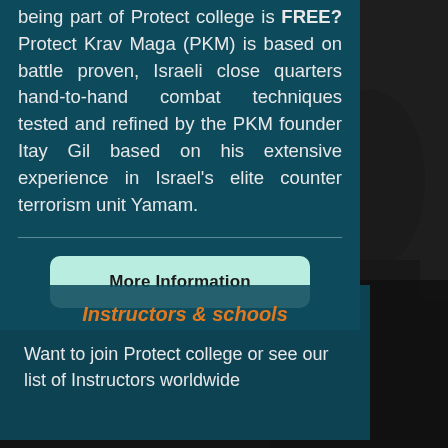being part of Protect college is FREE? Protect Krav Maga (PKM) is based on battle proven, Israeli close quarters hand-to-hand combat techniques tested and refined by the PKM founder Itay Gil based on his extensive experience in Israel's elite counter terrorism unit Yamam.
More Information
Instructors & schools
Want to join Protect college or see our list of Instructors worldwide